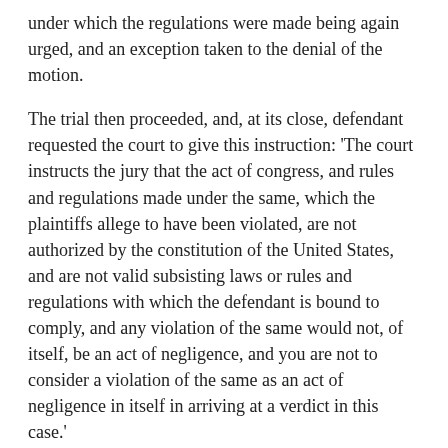under which the regulations were made being again urged, and an exception taken to the denial of the motion.
The trial then proceeded, and, at its close, defendant requested the court to give this instruction: 'The court instructs the jury that the act of congress, and rules and regulations made under the same, which the plaintiffs allege to have been violated, are not authorized by the constitution of the United States, and are not valid subsisting laws or rules and regulations with which the defendant is bound to comply, and any violation of the same would not, of itself, be an act of negligence, and you are not to consider a violation of the same as an act of negligence in itself in arriving at a verdict in this case.'
This instruction was objected to and was not given, though no exception appears to have been thereupon preserved.
On behalf of plaintiffs the court was asked to instruct the